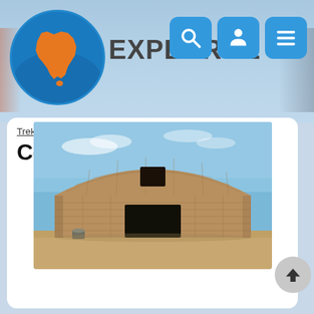[Figure (logo): Exploroz logo: circular badge with orange Australia map silhouette on blue background, with text EXPLOROZ beside it]
[Figure (screenshot): Navigation bar with three blue rounded square icon buttons: magnifying glass (search), person (account), hamburger menu (navigation)]
Trek Home > All Treks > SA > SA Deserts
Cordillo Downs
[Figure (photo): Historic stone building with rounded arch roof at Cordillo Downs, outback South Australia. Sandy/rubble stone construction with large dark doorway entrance and small window above. Clear blue sky background, red dirt/sand foreground.]